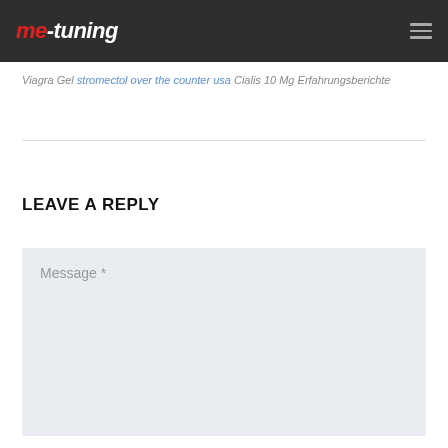me-tuning
Viagra Gel stromectol over the counter usa Cialis 10 Mg Erfahrungsberichte
LEAVE A REPLY
Message *